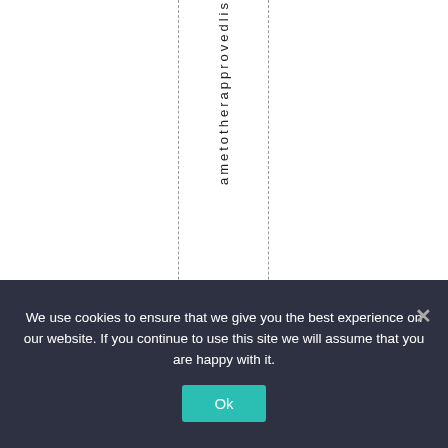a method he approved lis
We use cookies to ensure that we give you the best experience on our website. If you continue to use this site we will assume that you are happy with it.